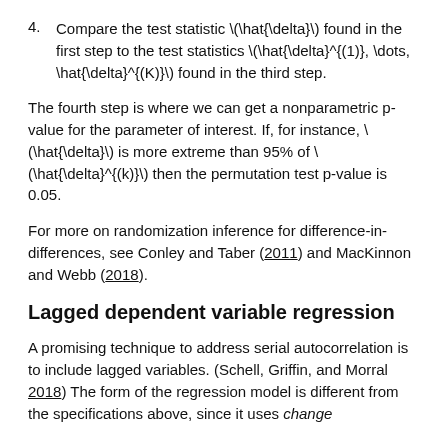4. Compare the test statistic \(\hat{\delta}\) found in the first step to the test statistics \(\hat{\delta}^{(1)}, \dots, \hat{\delta}^{(K)}\) found in the third step.
The fourth step is where we can get a nonparametric p-value for the parameter of interest. If, for instance, \(\hat{\delta}\) is more extreme than 95% of \(\hat{\delta}^{(k)}\) then the permutation test p-value is 0.05.
For more on randomization inference for difference-in-differences, see Conley and Taber (2011) and MacKinnon and Webb (2018).
Lagged dependent variable regression
A promising technique to address serial autocorrelation is to include lagged variables. (Schell, Griffin, and Morral 2018) The form of the regression model is different from the specifications above, since it uses change